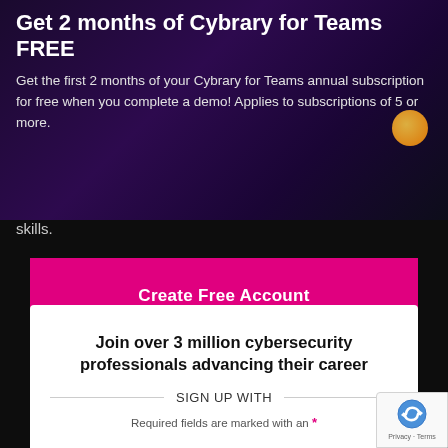Get 2 months of Cybrary for Teams FREE
Get the first 2 months of your Cybrary for Teams annual subscription for free when you complete a demo! Applies to subscriptions of 5 or more.
skills.
[Figure (other): Pink/magenta CTA button labeled 'Create Free Account']
Join over 3 million cybersecurity professionals advancing their career
SIGN UP WITH
Required fields are marked with an *